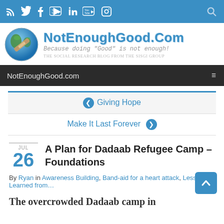Social media icons bar (RSS, Twitter, Facebook, YouTube, LinkedIn, YouTube, Instagram) with search icon
[Figure (logo): NotEnoughGood.com website header with globe logo, site name, tagline 'Because doing "Good" is not enough!' and subtitle 'The Social Research Blog From The SISGI Group']
NotEnoughGood.com navigation bar with hamburger menu
❮ Giving Hope
Make It Last Forever ❯
A Plan for Dadaab Refugee Camp – Foundations
By Ryan in Awareness Building, Band-aid for a heart attack, Lessons Learned from…
The overcrowded Dadaab camp in